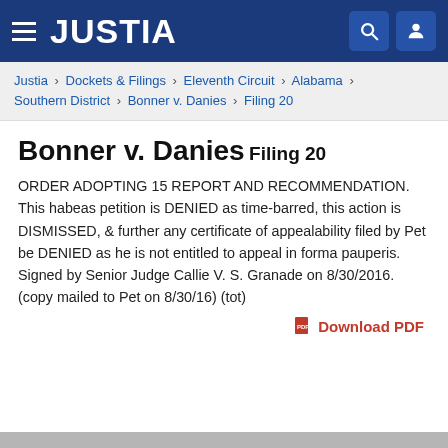JUSTIA
Justia › Dockets & Filings › Eleventh Circuit › Alabama › Southern District › Bonner v. Danies › Filing 20
Bonner v. Danies
Filing 20
ORDER ADOPTING 15 REPORT AND RECOMMENDATION. This habeas petition is DENIED as time-barred, this action is DISMISSED, & further any certificate of appealability filed by Pet be DENIED as he is not entitled to appeal in forma pauperis. Signed by Senior Judge Callie V. S. Granade on 8/30/2016. (copy mailed to Pet on 8/30/16) (tot)
Download PDF